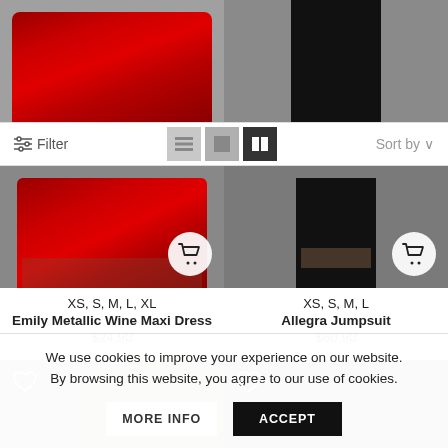[Figure (photo): Top portion of two product images cut off: left shows red satin maxi dress bottom, right shows black pants on grey background]
[Figure (screenshot): Filter toolbar with list/grid view icons and Sort by dropdown]
[Figure (photo): Left product: Emily Metallic Wine Maxi Dress lower portion with shopping cart button; Right product: Allegra Jumpsuit lower portion with shopping cart button]
XS, S, M, L, XL
Emily Metallic Wine Maxi Dress
$24.90
XS, S, M, L
Allegra Jumpsuit
$60.90
[Figure (photo): Two product images row 2: left shows woman in green dress, right shows woman in silver outfit. Both have heart/wishlist icons.]
We use cookies to improve your experience on our website. By browsing this website, you agree to our use of cookies.
MORE INFO
ACCEPT